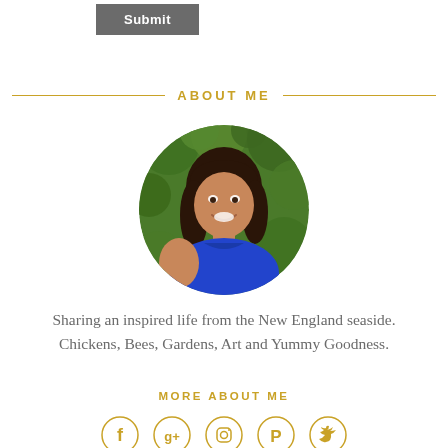[Figure (other): Gray Submit button]
ABOUT ME
[Figure (photo): Circular portrait photo of a woman with dark hair wearing a blue top, smiling in front of green foliage]
Sharing an inspired life from the New England seaside. Chickens, Bees, Gardens, Art and Yummy Goodness.
MORE ABOUT ME
[Figure (other): Row of social media icons: Facebook, Google+, Instagram, Pinterest, Twitter — all in gold/yellow circle outlines]